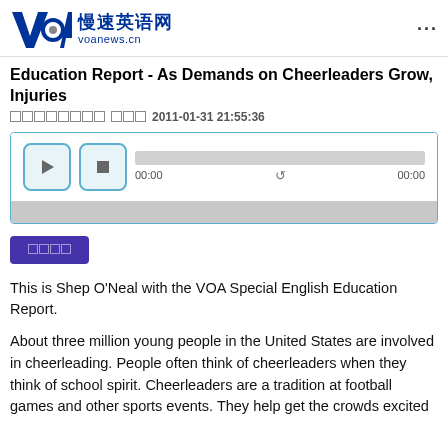慢速英语网 voanews.cn
Education Report - As Demands on Cheerleaders Grow, Injuries
发布时间  更新2011-01-31 21:55:36
[Figure (screenshot): Audio player with play and stop buttons, progress bar showing 00:00 timestamps and a repeat icon]
双语对照
This is Shep O'Neal with the VOA Special English Education Report.
About three million young people in the United States are involved in cheerleading. People often think of cheerleaders when they think of school spirit. Cheerleaders are a tradition at football games and other sports events. They help get the crowds excited